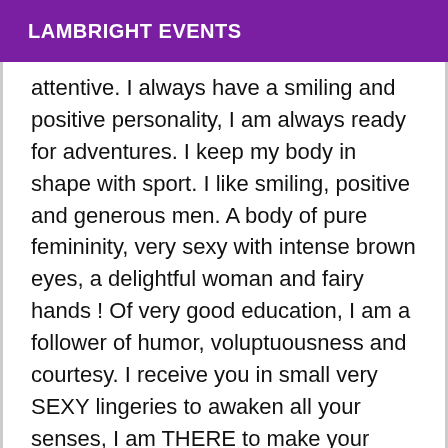LAMBRIGHT EVENTS
attentive. I always have a smiling and positive personality, I am always ready for adventures. I keep my body in shape with sport. I like smiling, positive and generous men. A body of pure femininity, very sexy with intense brown eyes, a delightful woman and fairy hands ! Of very good education, I am a follower of humor, voluptuousness and courtesy. I receive you in small very SEXY lingeries to awaken all your senses, I am THERE to make your most intense dreams come true ! I do not move. I ALSO PRACTICE REAL EXCEPTIONAL MASSAGES WITH OILS. I ask of all my Romeo a perfect hygiene, because this one will be returned to you and assured. I receive you in a very pleasant and discreet setting, all very clean. Shower room, bathroom, toilets. Appart. Discreet and easy to park ! On RDV, 7D/7 of 10:00 to 22:00 h SORRY BUT I DON'T ANSWER THE NUMBERS MASKS AND LANDLINES, NO SMS AND